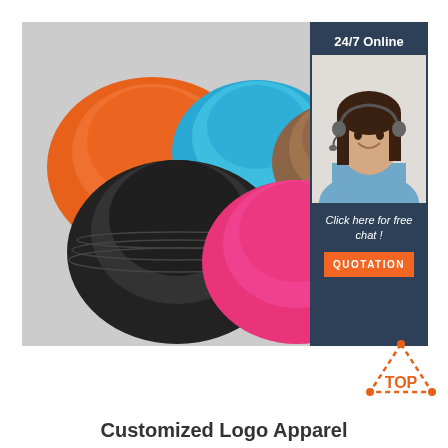[Figure (photo): Five colorful bucket/beret style hats arranged on a grey background: orange (top left), blue (top center), brown (top right), black (bottom left/center), pink/hot pink (bottom right). Overlaid on the right side is a dark blue sidebar with '24/7 Online' text, a photo of a smiling woman with a headset, 'Click here for free chat!' text, and an orange 'QUOTATION' button. Bottom right corner has a 'TOP' logo with orange triangle/dot motif.]
Customized Logo Apparel